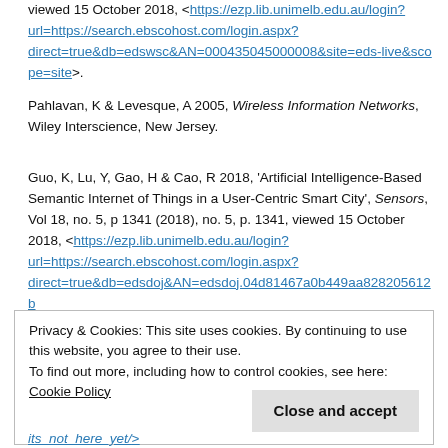viewed 15 October 2018, <https://ezp.lib.unimelb.edu.au/login?url=https://search.ebscohost.com/login.aspx?direct=true&db=edswsc&AN=000435045000008&site=eds-live&scope=site>.
Pahlavan, K & Levesque, A 2005, Wireless Information Networks, Wiley Interscience, New Jersey.
Guo, K, Lu, Y, Gao, H & Cao, R 2018, 'Artificial Intelligence-Based Semantic Internet of Things in a User-Centric Smart City', Sensors, Vol 18, no. 5, p 1341 (2018), no. 5, p. 1341, viewed 15 October 2018, <https://ezp.lib.unimelb.edu.au/login?url=https://search.ebscohost.com/login.aspx?direct=true&db=edsdoj&AN=edsdoj.04d81467a0b449aa828205612b...live&scope=site>.
Privacy & Cookies: This site uses cookies. By continuing to use this website, you agree to their use. To find out more, including how to control cookies, see here: Cookie Policy
its_not_here_yet/>